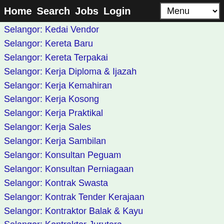Home Search Jobs Login Menu
Selangor: Kedai Vendor
Selangor: Kereta Baru
Selangor: Kereta Terpakai
Selangor: Kerja Diploma & Ijazah
Selangor: Kerja Kemahiran
Selangor: Kerja Kosong
Selangor: Kerja Praktikal
Selangor: Kerja Sales
Selangor: Kerja Sambilan
Selangor: Konsultan Peguam
Selangor: Konsultan Perniagaan
Selangor: Kontrak Swasta
Selangor: Kontrak Tender Kerajaan
Selangor: Kontraktor Balak & Kayu
Selangor: Kontraktor Jurutera
Selangor: Kontraktor Marin & Kapal Laut
Selangor: Kontraktor Minyak & Gas
Selangor: Kontraktor Pasir
Selangor: Kontraktor Pembinaan
Selangor: Kontraktor Perlombongan
Selangor: Kursus & Seminar
Selangor: Kurus Kecantikan